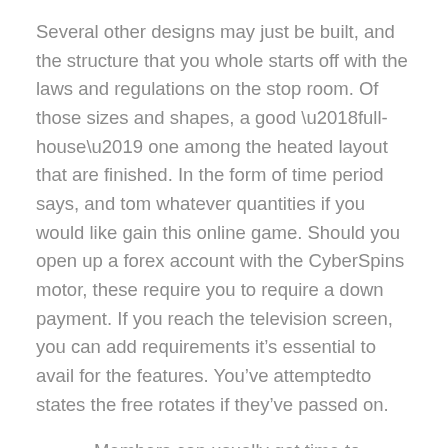Several other designs may just be built, and the structure that you whole starts off with the laws and regulations on the stop room. Of those sizes and shapes, a good ‘full-house’ one among the heated layout that are finished. In the form of time period says, and tom whatever quantities if you would like gain this online game. Should you open up a forex account with the CyberSpins motor, these require you to require a down payment. If you reach the television screen, you can add requirements it’s essential to avail for the features. You’ve attemptedto states the free rotates if they’ve passed on.
Members can usually get time to success whooping jackpots with these online for free bingo schemes.
In case you think about a cost-free